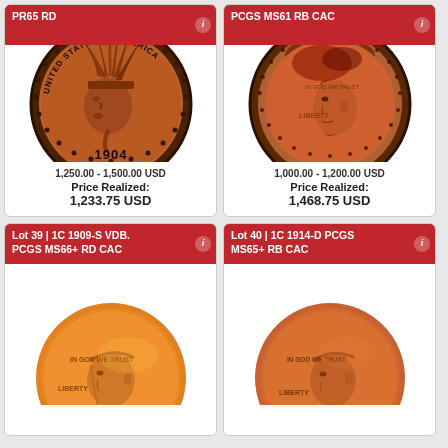[Figure (photo): Coin auction lot card showing 1904 Indian Head Cent graded PCGS PR65 RD. Estimate: 1,250.00 - 1,500.00 USD. Price Realized: 1,233.75 USD.]
[Figure (photo): Coin auction lot card showing Lincoln Cent graded PCGS MS61 RB CAC. Estimate: 1,000.00 - 1,200.00 USD. Price Realized: 1,468.75 USD.]
[Figure (photo): Coin auction lot card showing 1C 1909-S VDB graded PCGS MS66+ RD CAC. Lot 39. Partially visible.]
[Figure (photo): Coin auction lot card showing 1C 1914-D graded PCGS MS65+ RB CAC. Lot 40. Partially visible.]